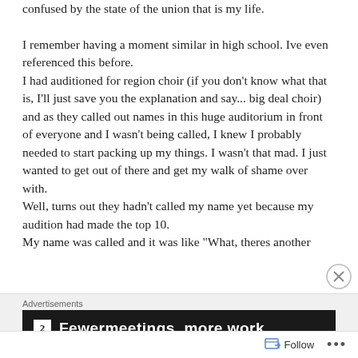confused by the state of the union that is my life.

I remember having a moment similar in high school. Ive even referenced this before.
I had auditioned for region choir (if you don't know what that is, I'll just save you the explanation and say... big deal choir) and as they called out names in this huge auditorium in front of everyone and I wasn't being called, I knew I probably needed to start packing up my things. I wasn't that mad. I just wanted to get out of there and get my walk of shame over with.
Well, turns out they hadn't called my name yet because my audition had made the top 10.
My name was called and it was like "What, theres another
[Figure (screenshot): Advertisement banner with dark background showing a square icon and partial text about meetings/work]
Advertisements